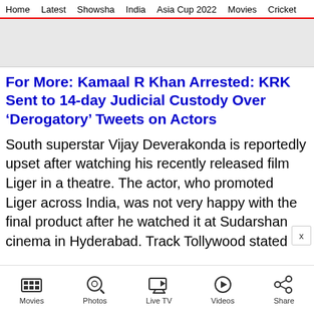Home | Latest | Showsha | India | Asia Cup 2022 | Movies | Cricket
[Figure (other): Gray advertisement placeholder banner]
For More: Kamaal R Khan Arrested: KRK Sent to 14-day Judicial Custody Over ‘Derogatory’ Tweets on Actors
South superstar Vijay Deverakonda is reportedly upset after watching his recently released film Liger in a theatre. The actor, who promoted Liger across India, was not very happy with the final product after he watched it at Sudarshan cinema in Hyderabad. Track Tollywood stated
Movies | Photos | Live TV | Videos | Share